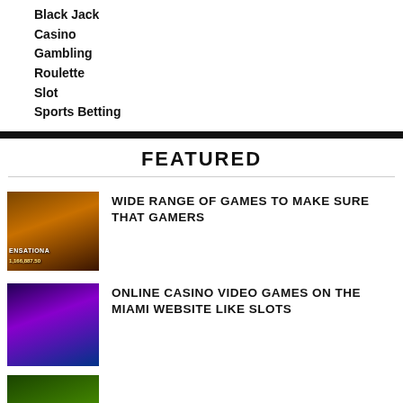Black Jack
Casino
Gambling
Roulette
Slot
Sports Betting
FEATURED
[Figure (photo): Casino slot machine screenshot showing 'SENSATIONAL' text and jackpot amount 1,166,887.50]
WIDE RANGE OF GAMES TO MAKE SURE THAT GAMERS
[Figure (photo): Online casino video game screenshot showing colorful slot machine with fruits and coins]
ONLINE CASINO VIDEO GAMES ON THE MIAMI WEBSITE LIKE SLOTS
[Figure (photo): Third article image partially visible at bottom]